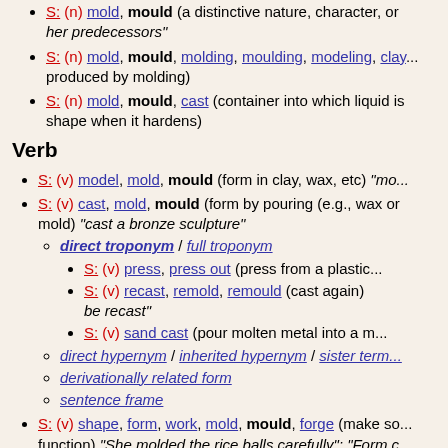S: (n) mold, mould (a distinctive nature, character, or ...) her predecessors"
S: (n) mold, mould, molding, moulding, modeling, clay... produced by molding)
S: (n) mold, mould, cast (container into which liquid is ... shape when it hardens)
Verb
S: (v) model, mold, mould (form in clay, wax, etc) "mo...
S: (v) cast, mold, mould (form by pouring (e.g., wax or... mold) "cast a bronze sculpture"
direct troponym / full troponym
S: (v) press, press out (press from a plastic...
S: (v) recast, remold, remould (cast again) ... be recast"
S: (v) sand cast (pour molten metal into a m...
direct hypernym / inherited hypernym / sister term...
derivationally related form
sentence frame
S: (v) shape, form, work, mold, mould, forge (make so... function) "She molded the rice balls carefully"; "Form c... "shape a figure"; "Work the metal into a sword"